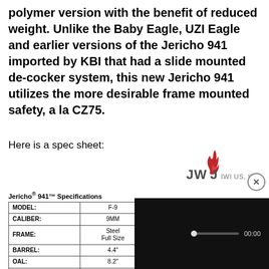polymer version with the benefit of reduced weight. Unlike the Baby Eagle, UZI Eagle and earlier versions of the Jericho 941 imported by KBI that had a slide mounted de-cocker system, this new Jericho 941 utilizes the more desirable frame mounted safety, a la CZ75.
Here is a spec sheet:
[Figure (logo): IWI US, INC. logo with red flame icon and text]
| MODEL: | F-9 | F-40 | FS-9 | FS-40 |
| --- | --- | --- | --- | --- |
| CALIBER: | 9MM | .40 S&W | 9MM | .40 S&W |
| FRAME: | Steel
Full Size | Steel
Full Size | Steel
Compact | Steel
Compact |
| BARREL: | 4.4" | 4.4" | 3.8" | 3.8" |
| OAL: | 8.2" | 8.2" | 7.6" | 7.6" |
| WEIGHT: | 2.3 lbs. | 2.3 lbs. | 1.95 lbs. | 2.25 lbs. |
| MAG: | 2 – 16 rd. | 2-12 rd. | 2-16 rd. | 2-12 rd. |